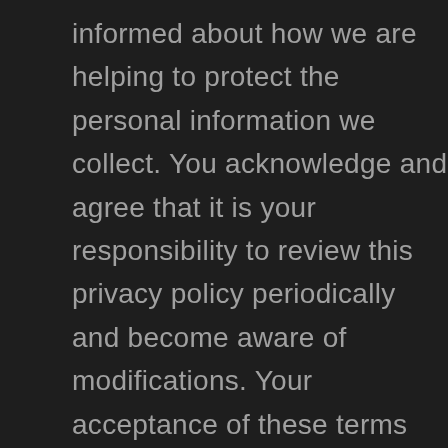informed about how we are helping to protect the personal information we collect. You acknowledge and agree that it is your responsibility to review this privacy policy periodically and become aware of modifications. Your acceptance of these terms By using this Site, you signify your acceptance of this policy. If you do not agree to this policy, please do not use our Site. Your continued use of the Site following